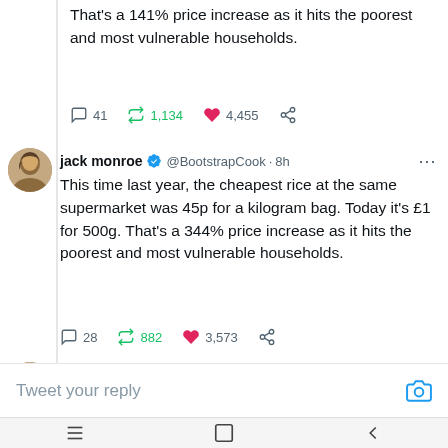That’s a 141% price increase as it hits the poorest and most vulnerable households.
41  1,134  4,455
jack monroe ✓ @BootstrapCook · 8h
This time last year, the cheapest rice at the same supermarket was 45p for a kilogram bag. Today it’s £1 for 500g. That’s a 344% price increase as it hits the poorest and most vulnerable households.
28  882  3,573
jack monroe ✓ @BootstrapCook · 8h
Tweet your reply